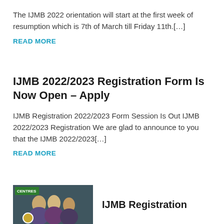The IJMB 2022 orientation will start at the first week of resumption which is 7th of March till Friday 11th.[...]
READ MORE
IJMB 2022/2023 Registration Form Is Now Open – Apply
IJMB Registration 2022/2023 Form Session Is Out IJMB 2022/2023 Registration We are glad to announce to you that the IJMB 2022/2023[...]
READ MORE
[Figure (photo): Thumbnail photo showing people with a green CENTRES badge overlay]
IJMB Registration